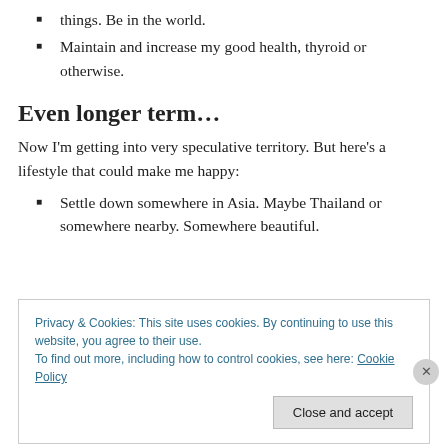things. Be in the world.
Maintain and increase my good health, thyroid or otherwise.
Even longer term…
Now I'm getting into very speculative territory. But here's a lifestyle that could make me happy:
Settle down somewhere in Asia. Maybe Thailand or somewhere nearby. Somewhere beautiful.
Privacy & Cookies: This site uses cookies. By continuing to use this website, you agree to their use.
To find out more, including how to control cookies, see here: Cookie Policy